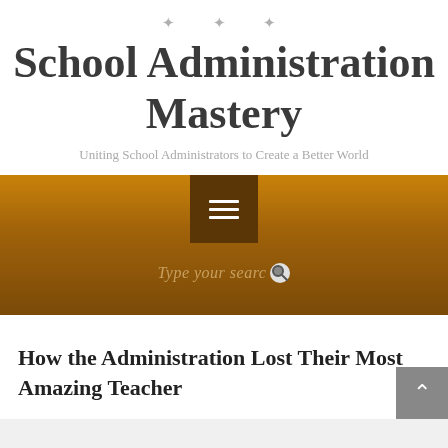Social icons: RSS, Twitter, Pinterest
School Administration Mastery
Uniting School Administrators to Create a Better World
[Figure (screenshot): Golden/brown navigation bar with hamburger menu icon and search field reading 'Type your search']
How the Administration Lost Their Most Amazing Teacher